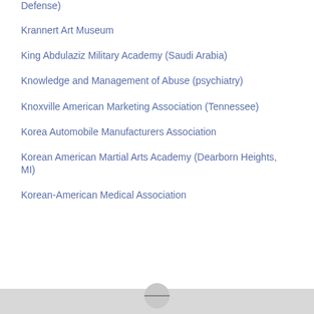Defense)
Krannert Art Museum
King Abdulaziz Military Academy (Saudi Arabia)
Knowledge and Management of Abuse (psychiatry)
Knoxville American Marketing Association (Tennessee)
Korea Automobile Manufacturers Association
Korean American Martial Arts Academy (Dearborn Heights, MI)
Korean-American Medical Association